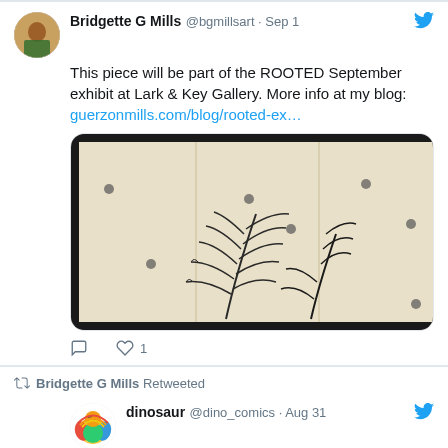[Figure (screenshot): Twitter/social media screenshot showing two tweets. First tweet by Bridgette G Mills @bgmillsart Sep 1 about ROOTED September exhibit at Lark & Key Gallery with an image of fern artwork. Second tweet shows Bridgette G Mills Retweeted dinosaur @dino_comics Aug 31 saying 'weird and awkward'.]